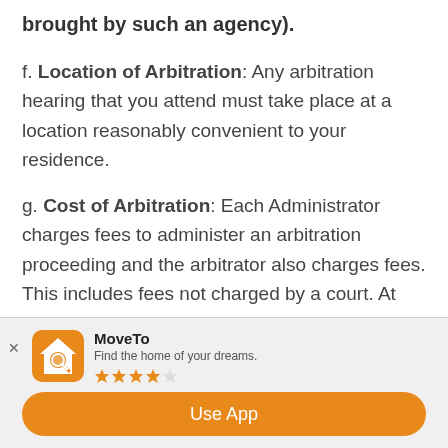brought by such an agency).
f. Location of Arbitration: Any arbitration hearing that you attend must take place at a location reasonably convenient to your residence.
g. Cost of Arbitration: Each Administrator charges fees to administer an arbitration proceeding and the arbitrator also charges fees. This includes fees not charged by a court. At your written request, we will pay all filing, hearing and/or other fees charged by the Administrator and
[Figure (infographic): MoveTo app download banner with house/magnifier logo, app name MoveTo, tagline 'Find the home of your dreams.', 3.5-star rating, and Use App button]
Use App